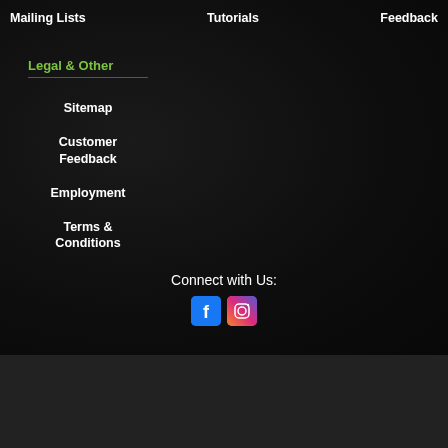Mailing Lists   Tutorials   Feedback
Legal & Other
Sitemap
Customer Feedback
Employment
Terms & Conditions
Connect with Us:
[Figure (logo): Facebook and Instagram social media icons]
[Figure (other): Payment card logos: Visa, MasterCard, Discover, American Express]
Copyright © 2022 . All rights reserved. Copyright & Privacy & Security Policy